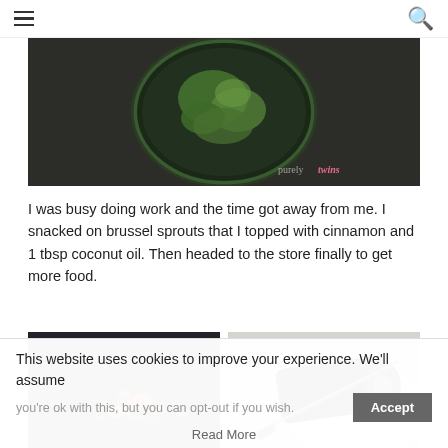navigation bar with hamburger menu and search icon
[Figure (photo): Overhead view of a glass bowl with green vegetables on a dark surface, with 'purely twins' watermark in bottom right]
I was busy doing work and the time got away from me. I snacked on brussel sprouts that I topped with cinnamon and 1 tbsp coconut oil. Then headed to the store finally to get more food.
[Figure (photo): Left image: close-up of mixed vegetables including carrots and green pieces on a dark surface; Right image: nori/seaweed roll being cut with a knife on a white plate]
This website uses cookies to improve your experience. We'll assume you're ok with this, but you can opt-out if you wish.
Read More